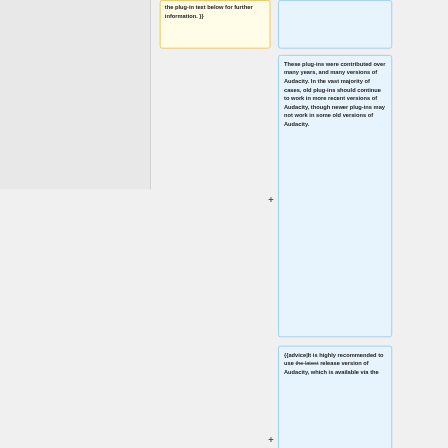the plug-in text below for further information. }}
These plug-ins were contributed over many years, and many versions of Audacity. In the vast majority of cases, old plug-ins should continue to work in more recent versions of Audacity, though newer plug-ins may not work in some old versions of Audacity.
{{advice|It is highly recommended to use the latest release version of Audacity, which is available via the